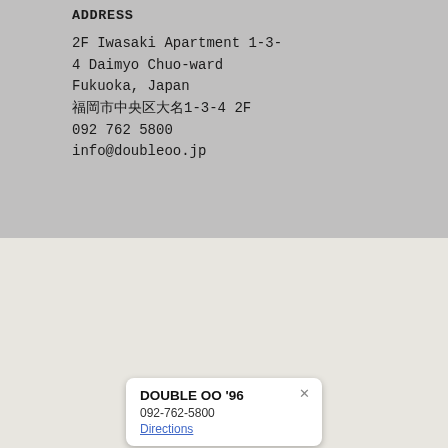ADDRESS
2F Iwasaki Apartment 1-3-4 Daimyo Chuo-ward Fukuoka, Japan
福岡市中央区大名1-3-4 2F
092 762 5800
info@doubleoo.jp
[Figure (map): Map view showing location of DOUBLE OO '96, with a popup card showing the business name, phone number 092-762-5800, and Directions link.]